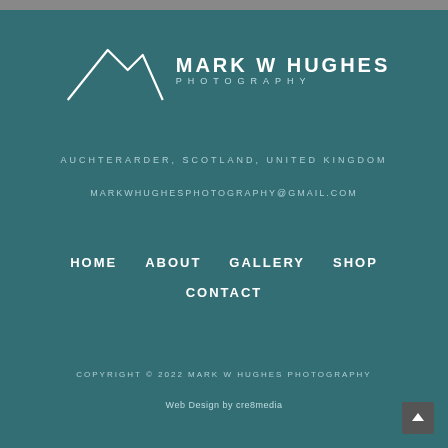[Figure (logo): Mark W Hughes Photography logo with mountain line art and text]
AUCHTERARDER, SCOTLAND, UNITED KINGDOM
MARKWHUGHESPHOTOGRAPHY@GMAIL.COM
HOME
ABOUT
GALLERY
SHOP
CONTACT
COPYRIGHT © 2022 MARK W HUGHES PHOTOGRAPHY
Web Design by cre8media